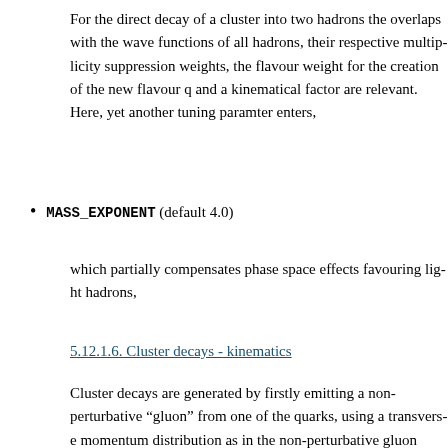For the direct decay of a cluster into two hadrons the overlaps with the wave functions of all hadrons, their respective multiplicity suppression weights, the flavour weight for the creation of the new flavour q and a kinematical factor are relevant. Here, yet another tuning paramter enters,
MASS_EXPONENT (default 4.0)
which partially compensates phase space effects favouring light hadrons,
5.12.1.6. Cluster decays - kinematics
Cluster decays are generated by firstly emitting a non-perturbative “gluon” from one of the quarks, using a transverse momentum distribution as in the non-perturbative gluon decay, see below, and by then splitting this gluon into a quark–antiquark of anti-diquark–diquark pair, again with the same kinematics. the first of these splittings, the emission of the gluon, though, energy distribution of the gluon is given by the quark splitting